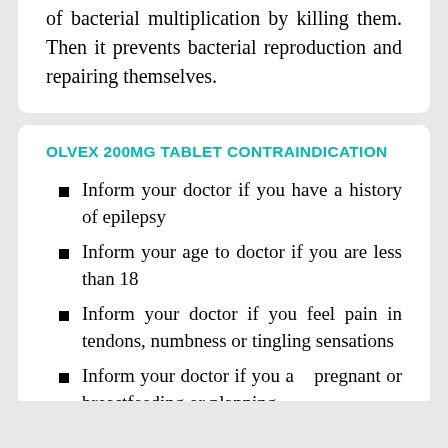of bacterial multiplication by killing them. Then it prevents bacterial reproduction and repairing themselves.
OLVEX 200MG TABLET CONTRAINDICATION
Inform your doctor if you have a history of epilepsy
Inform your age to doctor if you are less than 18
Inform your doctor if you feel pain in tendons, numbness or tingling sensations
Inform your doctor if you are pregnant or breastfeeding or planning